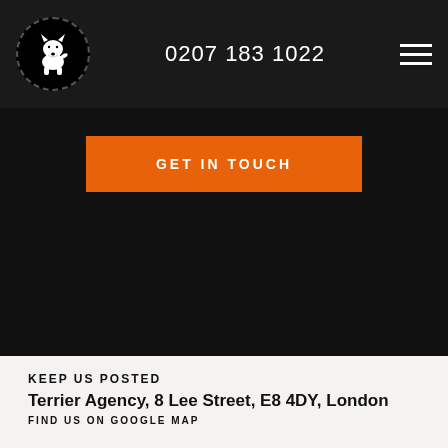0207 183 1022
[Figure (logo): White scottie dog logo in black circle]
GET IN TOUCH
KEEP US POSTED
Terrier Agency, 8 Lee Street, E8 4DY, London
FIND US ON GOOGLE MAP